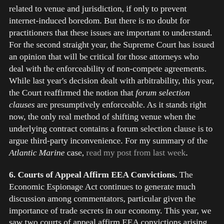related to venue and jurisdiction, if only to prevent internet-induced boredom. But there is no doubt for practitioners that these issues are important to understand. For the second straight year, the Supreme Court has issued an opinion that will be critical for those attorneys who deal with the enforceability of non-compete agreements. While last year's decision dealt with arbitrability, this year, the Court reaffirmed the notion that forum selection clauses are presumptively enforceable. As it stands right now, the only real method of shifting venue when the underlying contract contains a forum selection clause is to argue third-party inconvenience. For my summary of the Atlantic Marine case, read my post from last week.
6. Courts of Appeal Affirm EEA Convictions. The Economic Espionage Act continues to generate much discussion among commentators, particular given the importance of trade secrets in our economy. This year, we saw two courts of appeal affirm EEA convictions arising out of theft of trade secrets. In one case, the Seventh Circuit affirmed Hanjuan Jin's conviction arising from her misappropriation of technology from Motorola (though the